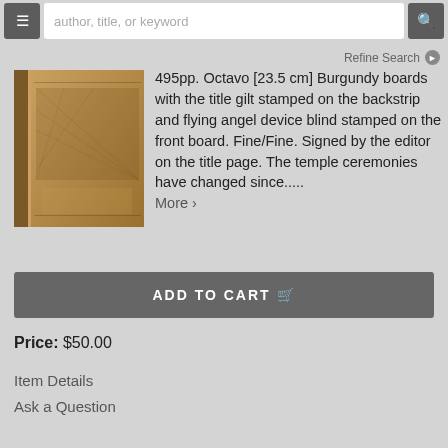author, title, or keyword
Refine Search
[Figure (photo): A brown/burgundy book with decorative cover, photographed at slight angle showing spine and front board]
495pp. Octavo [23.5 cm] Burgundy boards with the title gilt stamped on the backstrip and flying angel device blind stamped on the front board. Fine/Fine. Signed by the editor on the title page. The temple ceremonies have changed since.....
More >
ADD TO CART
Price: $50.00
Item Details
Ask a Question